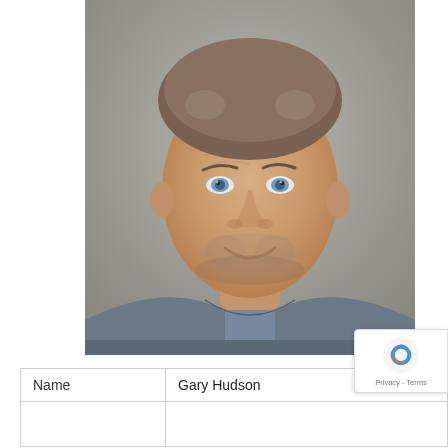[Figure (photo): Headshot photo of a middle-aged man with short brown-gray hair, blue eyes, stubble, wearing a gray t-shirt, smiling slightly, against a gray background.]
| Name | Gary Hudson |
|  |  |
[Figure (other): Google reCAPTCHA badge overlay in the bottom-right corner showing the reCAPTCHA logo and 'Privacy - Terms' text.]